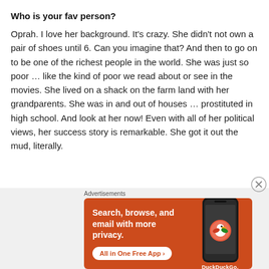Who is your fav person?
Oprah. I love her background. It’s crazy. She didn’t not own a pair of shoes until 6. Can you imagine that? And then to go on to be one of the richest people in the world. She was just so poor … like the kind of poor we read about or see in the movies. She lived on a shack on the farm land with her grandparents. She was in and out of houses … prostituted in high school. And look at her now! Even with all of her political views, her success story is remarkable. She got it out the mud, literally.
Advertisements
[Figure (screenshot): DuckDuckGo advertisement banner on orange background with text 'Search, browse, and email with more privacy. All in One Free App' and DuckDuckGo logo with a phone image on the right side.]